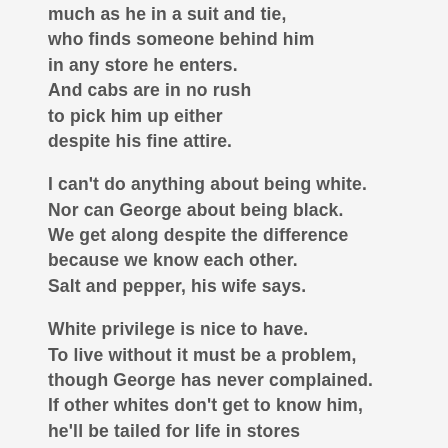much as he in a suit and tie,
who finds someone behind him
in any store he enters.
And cabs are in no rush
to pick him up either
despite his fine attire.
I can't do anything about being white.
Nor can George about being black.
We get along despite the difference
because we know each other.
Salt and pepper, his wife says.
White privilege is nice to have.
To live without it must be a problem,
though George has never complained.
If other whites don't get to know him,
he'll be tailed for life in stores
and may go gray hailing cabs
as they fly by and he turns white
waving in the snow.